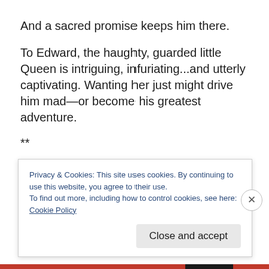And a sacred promise keeps him there.
To Edward, the haughty, guarded little Queen is intriguing, infuriating...and utterly captivating. Wanting her just might drive him mad—or become his greatest adventure.
**
Within the cold, stone walls of the royal palace—
Privacy & Cookies: This site uses cookies. By continuing to use this website, you agree to their use.
To find out more, including how to control cookies, see here: Cookie Policy
Close and accept